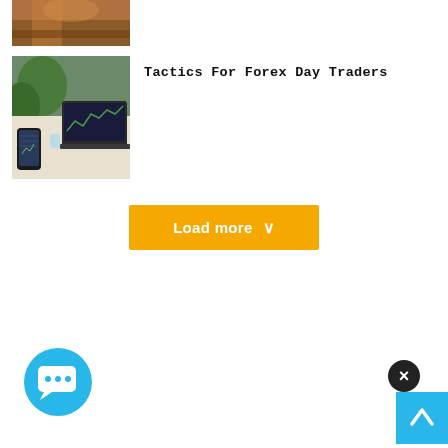[Figure (photo): Partial view of a person, cropped image at top of page]
[Figure (photo): Person holding a smartphone with stock charts visible on a laptop in the background]
Tactics For Forex Day Traders
Load more
[Figure (other): Chat support bubble icon - blue circular button with speech bubble and ellipsis]
[Figure (other): Close button - dark circular X button]
[Figure (other): Scroll to top button - cyan square with upward arrow]